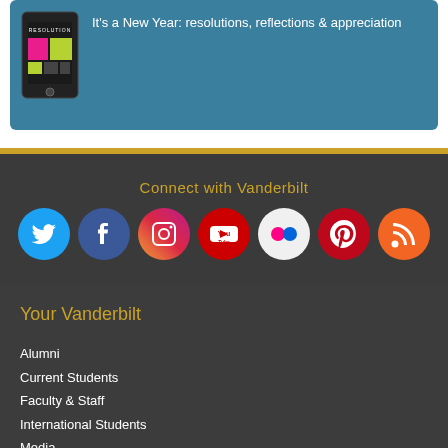[Figure (screenshot): Teal card with phone/app image showing resolution app and text: It's a New Year: resolutions, reflections & appreciation]
It's a New Year: resolutions, reflections & appreciation
Connect with Vanderbilt
[Figure (infographic): Social media icons: Twitter, Facebook, Instagram, YouTube, Flickr, Pinterest, RSS feed]
Your Vanderbilt
Alumni
Current Students
Faculty & Staff
International Students
Media
Parents & Family